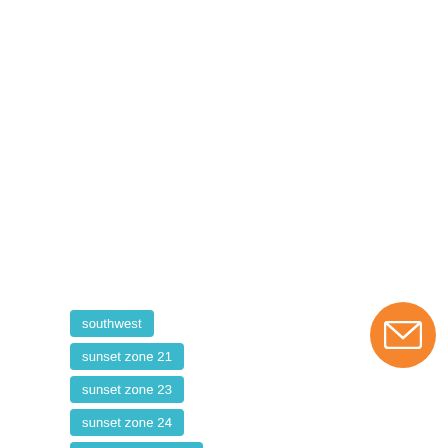southwest
sunset zone 21
sunset zone 23
sunset zone 24
southern california
walter andersen nursery
coastal southern california
experts
Back to Top
inland southern california
[Figure (infographic): Orange circular button with white envelope/mail icon]